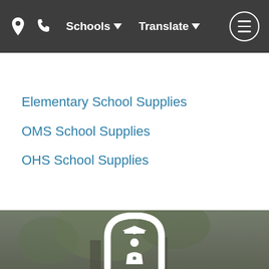Schools ▾   Translate ▾
Elementary School Supplies
OMS School Supplies
OHS School Supplies
[Figure (logo): School logo — white icon of a student/graduate inside an arched frame, displayed over a dark-tinted outdoor photo background]